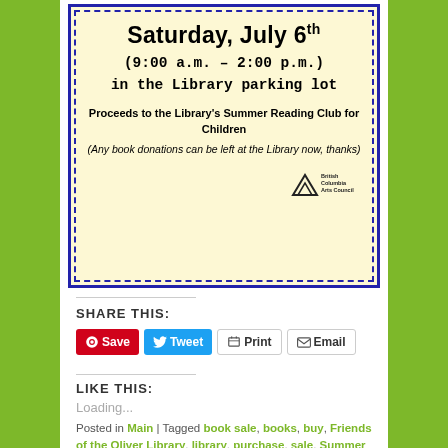[Figure (infographic): Cream/yellow-background flyer with blue dashed border announcing a book sale on Saturday, July 6th from 9:00 a.m. to 2:00 p.m. in the Library parking lot. Proceeds to the Library's Summer Reading Club for Children. Any book donations can be left at the Library now, thanks. British Columbia Arts Council logo in bottom right.]
SHARE THIS:
Save  Tweet  Print  Email
LIKE THIS:
Loading...
Posted in Main | Tagged book sale, books, buy, Friends of the Oliver Library, library, purchase, sale, Summer reading